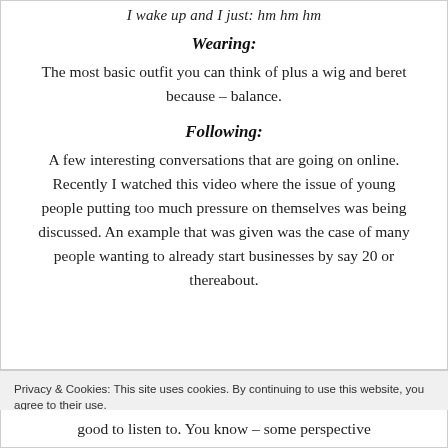I wake up and I just: hm hm hm
Wearing:
The most basic outfit you can think of plus a wig and beret because – balance.
Following:
A few interesting conversations that are going on online. Recently I watched this video where the issue of young people putting too much pressure on themselves was being discussed. An example that was given was the case of many people wanting to already start businesses by say 20 or thereabout.
Privacy & Cookies: This site uses cookies. By continuing to use this website, you agree to their use. To find out more, including how to control cookies, see here: Cookie Policy
Close and accept
good to listen to. You know – some perspective